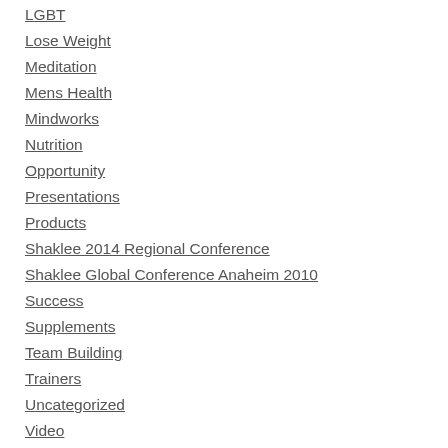LGBT
Lose Weight
Meditation
Mens Health
Mindworks
Nutrition
Opportunity
Presentations
Products
Shaklee 2014 Regional Conference
Shaklee Global Conference Anaheim 2010
Success
Supplements
Team Building
Trainers
Uncategorized
Video
Vitamin D
Vitamin Supplements